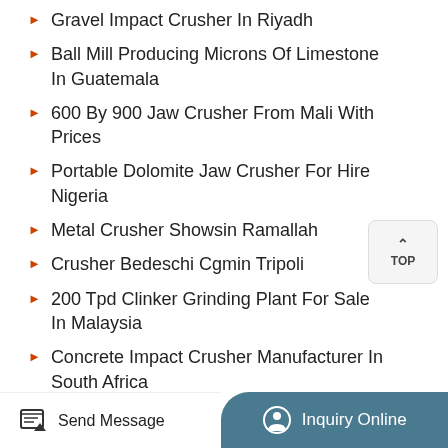Gravel Impact Crusher In Riyadh
Ball Mill Producing Microns Of Limestone In Guatemala
600 By 900 Jaw Crusher From Mali With Prices
Portable Dolomite Jaw Crusher For Hire Nigeria
Metal Crusher Showsin Ramallah
Crusher Bedeschi Cgmin Tripoli
200 Tpd Clinker Grinding Plant For Sale In Malaysia
Concrete Impact Crusher Manufacturer In South Africa
Mobilecrusher For Sale Philippines
Send Message | Inquiry Online